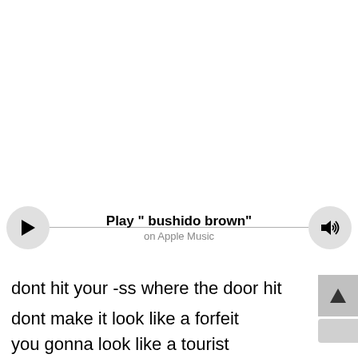[Figure (screenshot): Apple Music play button widget showing a circular play button on the left connected by a horizontal line to a circular volume/speaker button on the right. Center text reads 'Play " bushido brown"' in bold with 'on Apple Music' in gray below.]
Play " bushido brown"
on Apple Music
dont hit your -ss where the door hit
dont make it look like a forfeit
you gonna look like a tourist